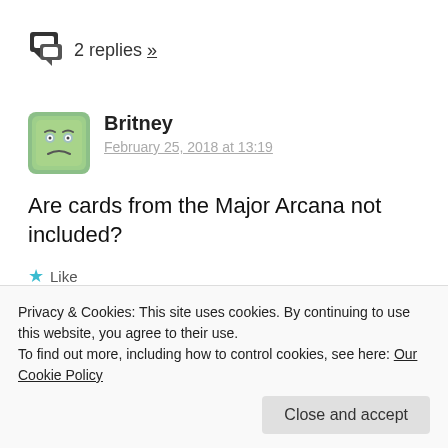2 replies »
Britney
February 25, 2018 at 13:19
Are cards from the Major Arcana not included?
Like
Reply
miss tarot teacher
Privacy & Cookies: This site uses cookies. By continuing to use this website, you agree to their use.
To find out more, including how to control cookies, see here: Our Cookie Policy
Close and accept